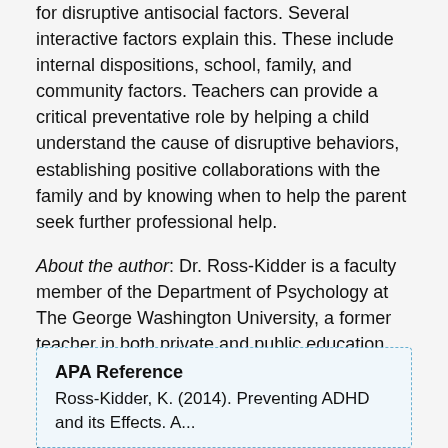for disruptive antisocial factors. Several interactive factors explain this. These include internal dispositions, school, family, and community factors. Teachers can provide a critical preventative role by helping a child understand the cause of disruptive behaviors, establishing positive collaborations with the family and by knowing when to help the parent seek further professional help.
About the author: Dr. Ross-Kidder is a faculty member of the Department of Psychology at The George Washington University, a former teacher in both private and public education and a licensed school psychologist who has worked extensively in public education and private practice helping children with learning disabilities and/or ADHD and their parents.
APA Reference
Ross-Kidder, K. (2014). Preventing ADHD and its Effects. A...